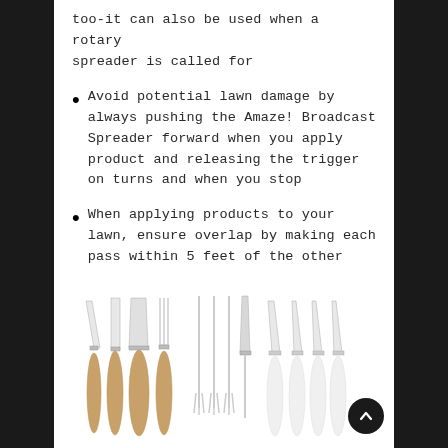too-it can also be used when a rotary spreader is called for
Avoid potential lawn damage by always pushing the Amaze! Broadcast Spreader forward when you apply product and releasing the trigger on turns and when you stop
When applying products to your lawn, ensure overlap by making each pass within 5 feet of the other
[Figure (photo): A set of cheese knives and forks with wooden and white handles, displayed in a row — includes various blade styles and a fork set]